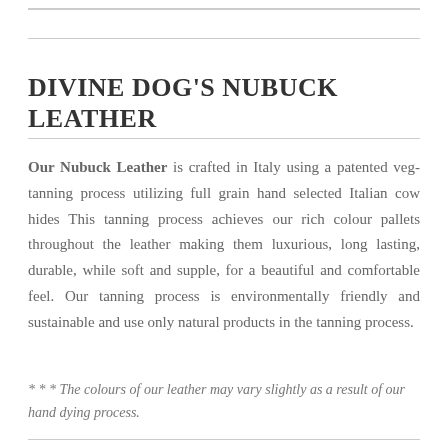DIVINE DOG'S NUBUCK LEATHER
Our Nubuck Leather is crafted in Italy using a patented veg-tanning process utilizing full grain hand selected Italian cow hides This tanning process achieves our rich colour pallets throughout the leather making them luxurious, long lasting, durable, while soft and supple, for a beautiful and comfortable feel. Our tanning process is environmentally friendly and sustainable and use only natural products in the tanning process.
* * * The colours of our leather may vary slightly as a result of our hand dying process.